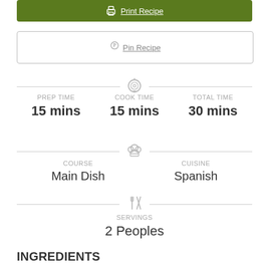Print Recipe
Pin Recipe
PREP TIME 15 mins | COOK TIME 15 mins | TOTAL TIME 30 mins
COURSE Main Dish | CUISINE Spanish
SERVINGS 2 Peoples
INGREDIENTS